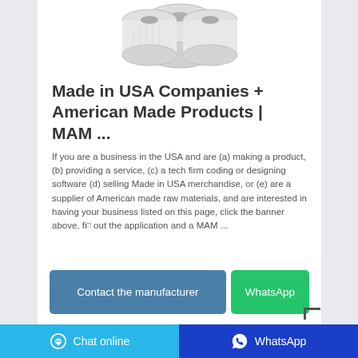[Figure (photo): Photo of paper towel rolls, white, stacked]
Made in USA Companies + American Made Products | MAM ...
If you are a business in the USA and are (a) making a product, (b) providing a service, (c) a tech firm coding or designing software (d) selling Made in USA merchandise, or (e) are a supplier of American made raw materials, and are interested in having your business listed on this page, click the banner above, fill out the application and a MAM ...
Contact the manufacturer
WhatsApp
Chat online
WhatsApp